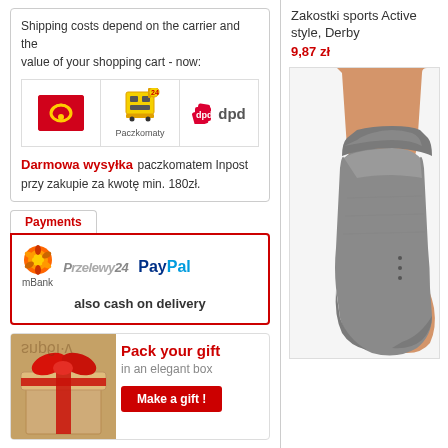Shipping costs depend on the carrier and the value of your shopping cart - now:
[Figure (logo): Three carrier logos: Polish Post (red), Paczkomaty InPost, DPD]
Darmowa wysyłka paczkomatem Inpost przy zakupie za kwotę min. 180zł.
Payments
[Figure (logo): Payment logos: mBank, Przelewy24, PayPal. Also cash on delivery.]
also cash on delivery
[Figure (infographic): Gift box with ribbon. Text: Pack your gift in an elegant box. Button: Make a gift!]
Zakostki sports Active style, Derby
9,87 zł
[Figure (photo): Gray ankle sock on a foot, product photo]